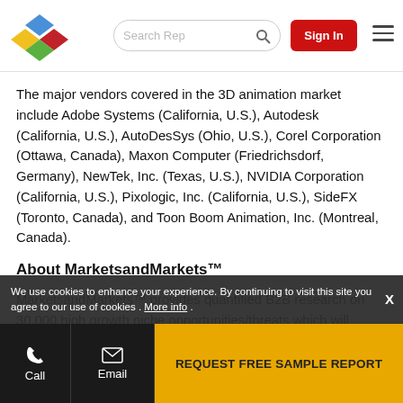[Figure (logo): MarketsandMarkets diamond logo with colored diamond shapes (blue, yellow, red, green)]
The major vendors covered in the 3D animation market include Adobe Systems (California, U.S.), Autodesk (California, U.S.), AutoDesSys (Ohio, U.S.), Corel Corporation (Ottawa, Canada), Maxon Computer (Friedrichsdorf, Germany), NewTek, Inc. (Texas, U.S.), NVIDIA Corporation (California, U.S.), Pixologic, Inc. (California, U.S.), SideFX (Toronto, Canada), and Toon Boom Animation, Inc. (Montreal, Canada).
About MarketsandMarkets™
MarketsandMarkets™ provides quantified B2B research on 30,000 high growth niche opportunities/threats which will impact 70% to 80% of worldwide companies' revenues. Currently servicing 7500 customers worldwide including
We use cookies to enhance your experience. By continuing to visit this site you agree to our use of cookies . More info .
REQUEST FREE SAMPLE REPORT